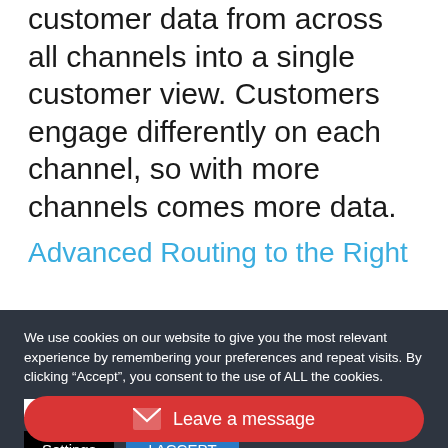customer data from across all channels into a single customer view. Customers engage differently on each channel, so with more channels comes more data.
Advanced Routing to the Right
We use cookies on our website to give you the most relevant experience by remembering your preferences and repeat visits. By clicking “Accept”, you consent to the use of ALL the cookies.
We will never sell your information.
Settings
I ACCEPT
Leave a message